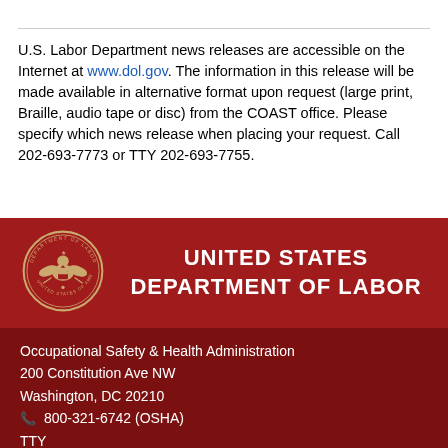U.S. Labor Department news releases are accessible on the Internet at www.dol.gov. The information in this release will be made available in alternative format upon request (large print, Braille, audio tape or disc) from the COAST office. Please specify which news release when placing your request. Call 202-693-7773 or TTY 202-693-7755.
[Figure (logo): United States Department of Labor seal and banner with red background]
Occupational Safety & Health Administration
200 Constitution Ave NW
Washington, DC 20210
800-321-6742 (OSHA)
TTY
www.OSHA.gov